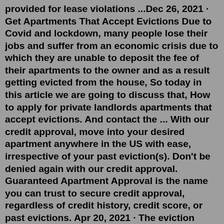provided for lease violations ...Dec 26, 2021 · Get Apartments That Accept Evictions Due to Covid and lockdown, many people lose their jobs and suffer from an economic crisis due to which they are unable to deposit the fee of their apartments to the owner and as a result getting evicted from the house, So today in this article we are going to discuss that, How to apply for private landlords apartments that accept evictions. And contact the ... With our credit approval, move into your desired apartment anywhere in the US with ease, irrespective of your past eviction(s). Don't be denied again with our credit approval. Guaranteed Apartment Approval is the name you can trust to secure credit approval, regardless of credit history, credit score, or past evictions. Apr 20, 2021 · The eviction notice. The eviction process begins when a landlord or property manager gives the renter an eviction notice. This is often called a Pay or Quit notice or a Pay or Vacate notice. It serves as a formal, documented warning